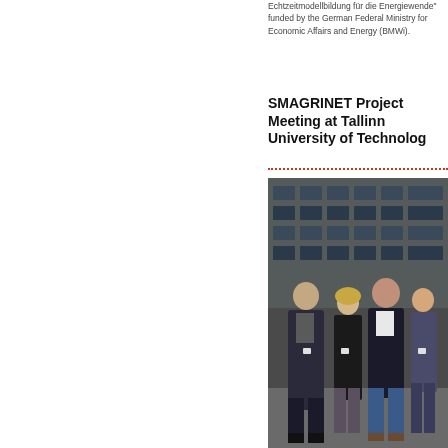Echtzeitmodellbildung für die Energiewende" funded by the German Federal Ministry for Economic Affairs and Energy (BMWi).
SMAGRINET Project Meeting at Tallinn University of Technology
[Figure (photo): Group photo of five people standing outside a modern building at Tallinn University of Technology. Four people are in the foreground: an older man in a dark suit on the left, a blonde woman in black in the center-left, a large man with a beard in the center-right, and a woman on the far right. Another person is partially visible in the background.]